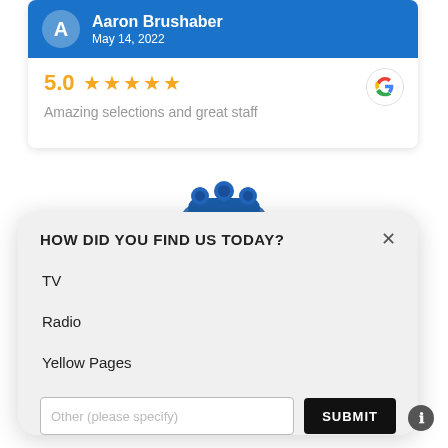[Figure (screenshot): Review card showing Aaron Brushaber, May 14 2022, 5.0 star rating with stars, Google logo, and text 'Amazing selections and great staff']
[Figure (illustration): Blue decorative gear/badge icon partially visible]
HOW DID YOU FIND US TODAY?
TV
Radio
Yellow Pages
Other (please specify)
SUBMIT